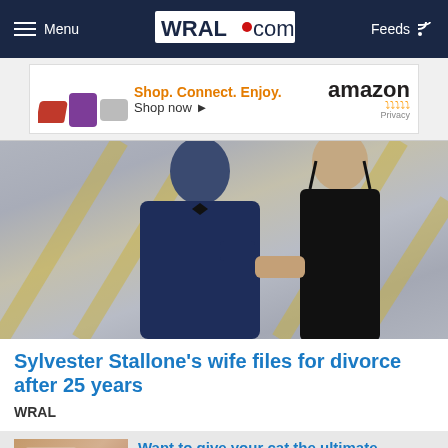Menu  WRAL.com  Feeds
[Figure (screenshot): Amazon advertisement banner: Shop. Connect. Enjoy. Shop now. Amazon logo with smile. Privacy link.]
[Figure (photo): Sylvester Stallone and his wife Jennifer Flavin at what appears to be the Oscars red carpet. He wears a navy tuxedo, she wears a black satin gown. They face each other holding hands.]
Sylvester Stallone's wife files for divorce after 25 years
WRAL
Want to give your cat the ultimate